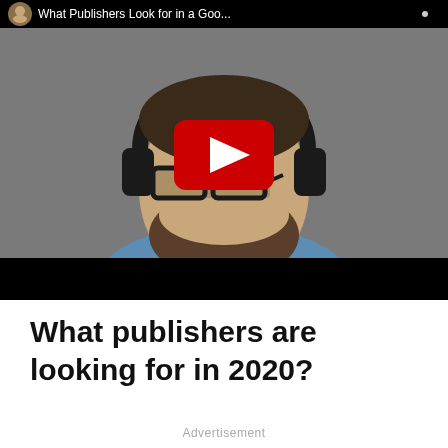[Figure (screenshot): YouTube video thumbnail showing a man with a beard, wearing black-framed glasses and large black headphones, with a red YouTube play button overlay in the center. The video title bar at the top reads 'What Publishers Look for in a Goo...' with a small circular avatar in the top-left corner. The bottom portion of the video frame is black.]
What publishers are looking for in 2020?
Advertisement